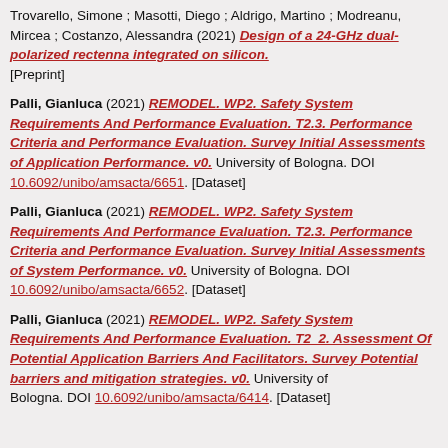Trovarello, Simone ; Masotti, Diego ; Aldrigo, Martino ; Modreanu, Mircea ; Costanzo, Alessandra (2021) Design of a 24-GHz dual-polarized rectenna integrated on silicon. [Preprint]
Palli, Gianluca (2021) REMODEL. WP2. Safety System Requirements And Performance Evaluation. T2.3. Performance Criteria and Performance Evaluation. Survey Initial Assessments of Application Performance. v0. University of Bologna. DOI 10.6092/unibo/amsacta/6651. [Dataset]
Palli, Gianluca (2021) REMODEL. WP2. Safety System Requirements And Performance Evaluation. T2.3. Performance Criteria and Performance Evaluation. Survey Initial Assessments of System Performance. v0. University of Bologna. DOI 10.6092/unibo/amsacta/6652. [Dataset]
Palli, Gianluca (2021) REMODEL. WP2. Safety System Requirements And Performance Evaluation. T2_2. Assessment Of Potential Application Barriers And Facilitators. Survey Potential barriers and mitigation strategies. v0. University of Bologna. DOI 10.6092/unibo/amsacta/6414. [Dataset]